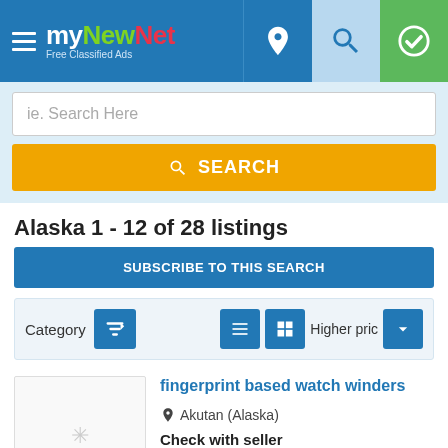[Figure (screenshot): myNewNet website header with logo, hamburger menu, location pin icon, search icon, and green checkmark icon]
ie. Search Here
SEARCH
Alaska 1 - 12 of 28 listings
SUBSCRIBE TO THIS SEARCH
Category
Higher price
fingerprint based watch winders
Akutan (Alaska)
Check with seller
April 10, 2022